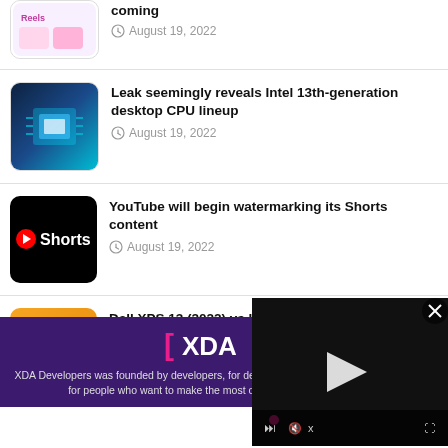[Figure (screenshot): Partial article thumbnail at top (cropped Instagram/Reels related image)]
coming
August 19, 2022
[Figure (photo): Intel 13th generation CPU chip on blue circuit board background]
Leak seemingly reveals Intel 13th-generation desktop CPU lineup
August 19, 2022
[Figure (logo): YouTube Shorts logo - black background with red play button and Shorts text]
YouTube will begin watermarking its Shorts content
August 19, 2022
[Figure (photo): Dell XPS 13 vs Lenovo Yoga 9i comparison image on orange background]
Dell XPS 13 (2022) vs Lenovo Yoga 9i: What’s the best ultrabook?
August 19, 2022
[Figure (screenshot): Video player overlay with play button and controls on dark background]
XDA Developers was founded by developers, for developers. It is now a valuable resource for people who want to make the most of their mobile devices, from